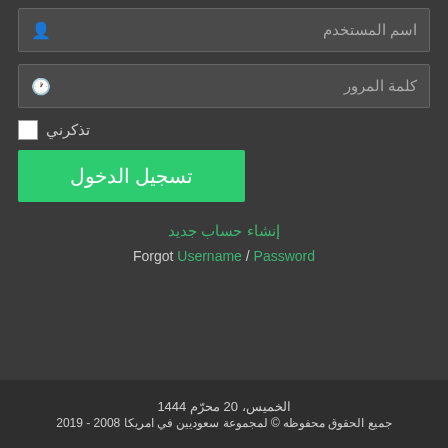اسم المستخدم
كلمة المرور
تذكرني
تسجيل الدخول
إنشاء حساب جديد
Forgot Username / Password
الخميس، 20 محرّم 1444
جميع الحقوق محفوظه © لمجموعة سعوديين في امريكا 2008 - 2019